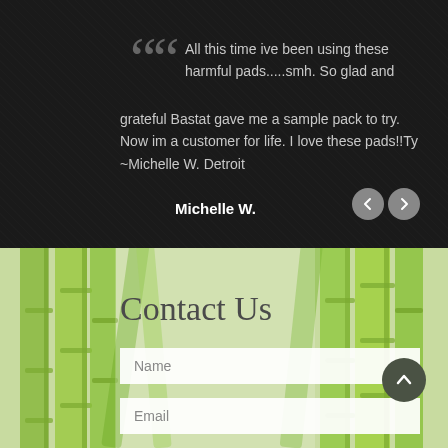All this time ive been using these harmful pads.....smh. So glad and grateful Bastat gave me a sample pack to try. Now im a customer for life. I love these pads!!Ty ~Michelle W. Detroit
Michelle W.
Contact Us
Name
Email